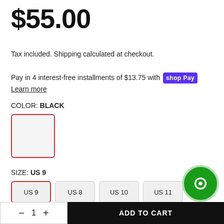$55.00
Tax included. Shipping calculated at checkout.
Pay in 4 interest-free installments of $13.75 with shop Pay
Learn more
COLOR: BLACK
[Figure (other): Selected color swatch box with red border, light gray fill]
SIZE: US 9
US 9 (selected), US 8, US 10, US 11, US 12, US 13, US 14, US 6, US 7
Add to Wishlist  Delivery & Returns  Enquiry
— 1 +  ADD TO CART